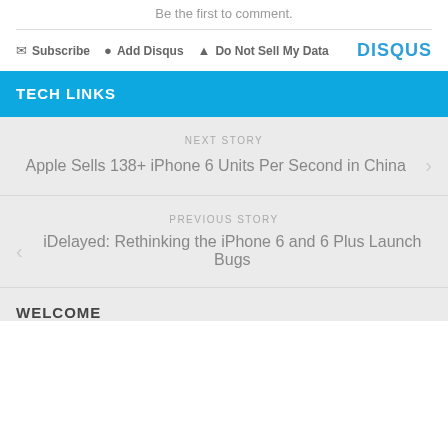Be the first to comment.
✉ Subscribe  ● Add Disqus  ▲ Do Not Sell My Data   DISQUS
TECH LINKS
NEXT STORY
Apple Sells 138+ iPhone 6 Units Per Second in China
PREVIOUS STORY
iDelayed: Rethinking the iPhone 6 and 6 Plus Launch Bugs
WELCOME